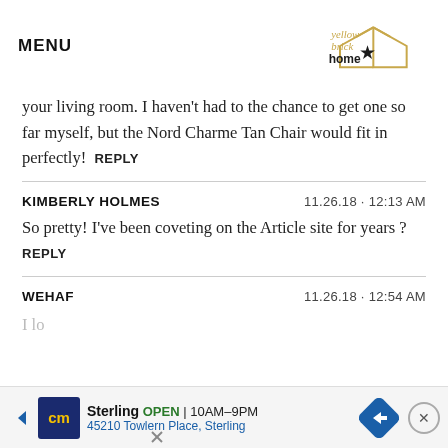MENU | yellow brick home logo
your living room. I haven't had to the chance to get one so far myself, but the Nord Charme Tan Chair would fit in perfectly!  REPLY
KIMBERLY HOLMES   11.26.18 · 12:13 AM
So pretty! I've been coveting on the Article site for years ?  REPLY
WEHAF   11.26.18 · 12:54 AM
I lo…
[Figure (screenshot): Advertisement bar at bottom: cm Sterling OPEN 10AM-9PM 45210 Towlern Place, Sterling with navigation arrow and close button]